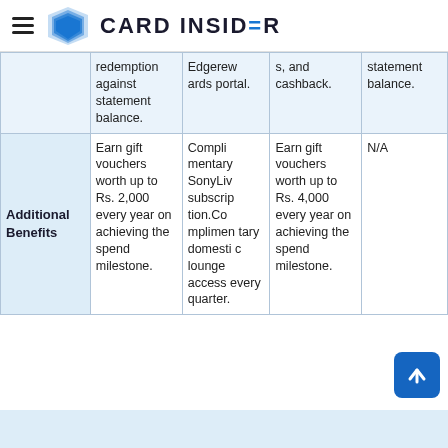CARD INSIDER
|  | Col1 | Col2 | Col3 | Col4 |
| --- | --- | --- | --- | --- |
|  | redemption against statement balance. | Edgerew ards portal. | s, and cashback. | statement balance. |
| Additional Benefits | Earn gift vouchers worth up to Rs. 2,000 every year on achieving the spend milestone. | Complimentary SonyLiv subscription. Complimentary domestic lounge access every quarter. | Earn gift vouchers worth up to Rs. 4,000 every year on achieving the spend milestone. | N/A |